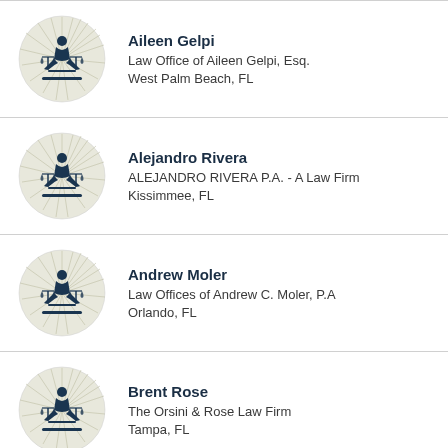Aileen Gelpi
Law Office of Aileen Gelpi, Esq.
West Palm Beach, FL
Alejandro Rivera
ALEJANDRO RIVERA P.A. - A Law Firm
Kissimmee, FL
Andrew Moler
Law Offices of Andrew C. Moler, P.A
Orlando, FL
Brent Rose
The Orsini & Rose Law Firm
Tampa, FL